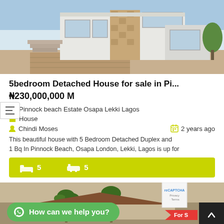[Figure (photo): Exterior photo of a modern 5-bedroom detached house with stone cladding and paved driveway]
5bedroom Detached House for sale in Pi...
₦230,000,000 M
Pinnock beach Estate Osapa Lekki Lagos
House
Chindi Moses
2 years ago
This beautiful house with 5 Bedroom Detached Duplex and 1 Bq In Pinnock Beach, Osapa London, Lekki, Lagos is up for
5   5
[Figure (photo): Partial view of another property listing with palm trees, red For Sale badge visible]
How can we help you?